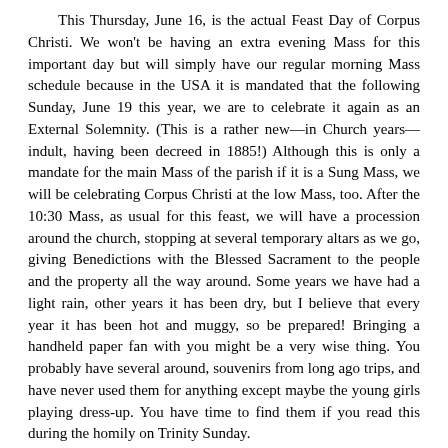This Thursday, June 16, is the actual Feast Day of Corpus Christi. We won't be having an extra evening Mass for this important day but will simply have our regular morning Mass schedule because in the USA it is mandated that the following Sunday, June 19 this year, we are to celebrate it again as an External Solemnity. (This is a rather new—in Church years—indult, having been decreed in 1885!) Although this is only a mandate for the main Mass of the parish if it is a Sung Mass, we will be celebrating Corpus Christi at the low Mass, too. After the 10:30 Mass, as usual for this feast, we will have a procession around the church, stopping at several temporary altars as we go, giving Benedictions with the Blessed Sacrament to the people and the property all the way around. Some years we have had a light rain, other years it has been dry, but I believe that every year it has been hot and muggy, so be prepared! Bringing a handheld paper fan with you might be a very wise thing. You probably have several around, souvenirs from long ago trips, and have never used them for anything except maybe the young girls playing dress-up. You have time to find them if you read this during the homily on Trinity Sunday.
	Of course, if you are at the 10:30 Mass on Trinity Sunday (June 12) you will probably put aside your regular homily escapes (and so might not read this until you find it scrunched up in the back seat of the car a few weeks too late), as we will have a newly ordained priest from the Priestly Fraternity of St. Peter celebrating one of his first Masses for you. Fr. Noel Soares, FSSP, has joined us for Mass several times during breaks in his seminary